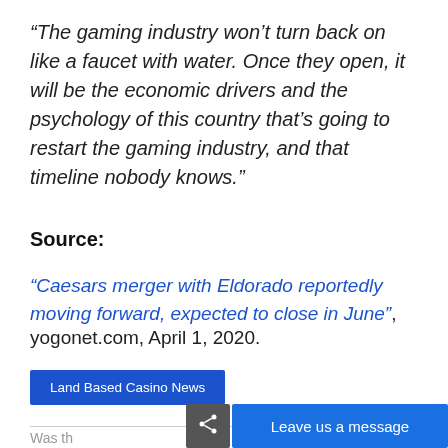“The gaming industry won’t turn back on like a faucet with water. Once they open, it will be the economic drivers and the psychology of this country that’s going to restart the gaming industry, and that timeline nobody knows.”
Source:
“Caesars merger with Eldorado reportedly moving forward, expected to close in June”, yogonet.com, April 1, 2020.
Land Based Casino News
Was th...